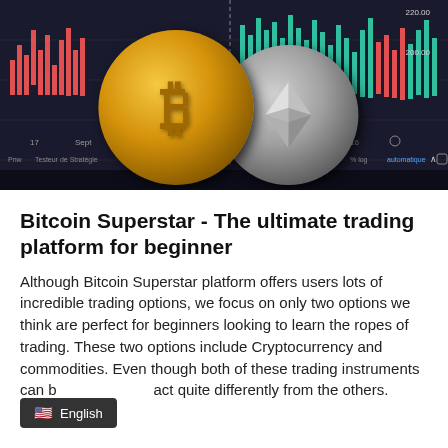[Figure (photo): Photo of a Bitcoin gold coin and an Ethereum silver coin in front of a dark cryptocurrency trading chart with candlestick bars in red and green/teal, with axis labels showing 220.00, 200.00, dates (17, Sept, 16), and French text 'Testeur de Stratégie', and 'automatique' in blue.]
Bitcoin Superstar - The ultimate trading platform for beginner
Although Bitcoin Superstar platform offers users lots of incredible trading options, we focus on only two options we think are perfect for beginners looking to learn the ropes of trading. These two options include Cryptocurrency and commodities. Even though both of these trading instruments can b act quite differently from the others.